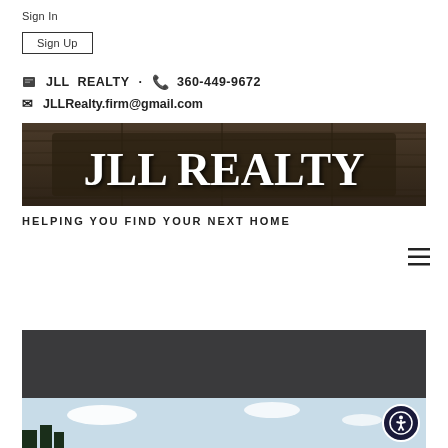Sign In
Sign Up
JLL REALTY · 360-449-9672
JLLRealty.firm@gmail.com
[Figure (logo): JLL Realty banner logo — white handwritten-style text 'JLL REALTY' on a dark wood-textured background]
HELPING YOU FIND YOUR NEXT HOME
[Figure (photo): Dark header section transitioning to an outdoor photo with sky and trees below]
[Figure (infographic): Circular accessibility button icon (person with circle) in bottom right]